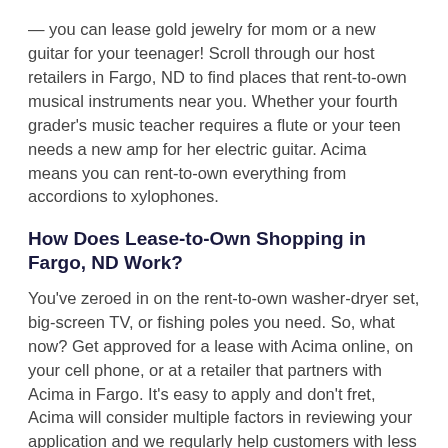— you can lease gold jewelry for mom or a new guitar for your teenager! Scroll through our host retailers in Fargo, ND to find places that rent-to-own musical instruments near you. Whether your fourth grader's music teacher requires a flute or your teen needs a new amp for her electric guitar. Acima means you can rent-to-own everything from accordions to xylophones.
How Does Lease-to-Own Shopping in Fargo, ND Work?
You've zeroed in on the rent-to-own washer-dryer set, big-screen TV, or fishing poles you need. So, what now? Get approved for a lease with Acima online, on your cell phone, or at a retailer that partners with Acima in Fargo. It's easy to apply and don't fret, Acima will consider multiple factors in reviewing your application and we regularly help customers with less than perfect credit histories. In the application, we'll ask for details about your current job, monthly pay, and checking account. Once you get approved, you can pick